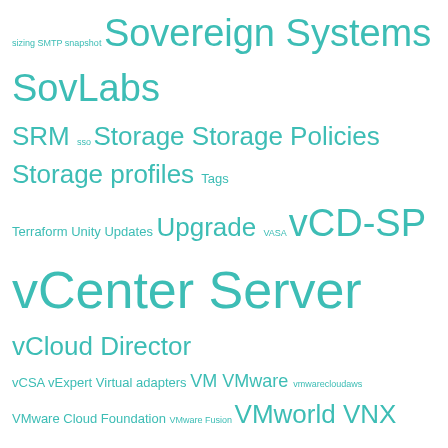[Figure (infographic): Tag cloud featuring VMware and virtualization-related technology terms in teal/cyan color at various font sizes indicating frequency/importance. Terms include: sizing, SMTP, snapshot, Sovereign Systems, SovLabs, SRM, sso, Storage, Storage Policies, Storage profiles, Tags, Terraform, Unity, Updates, Upgrade, VASA, vCD-SP, vCenter Server, vCloud Director, vCSA, vExpert, Virtual adapters, VM, VMware, vmwarecloudaws, VMware Cloud Foundation, VMware Fusion, VMworld, VNX, vRealize Automation, vRealize Business, vRealize Configuration Manager, vRealize Infrastructurer Navigator, vRealize Log Insight, vRealize Network Insight, vRealize Operations, vRealize Orchestrator, vRNI, VSA, VSAN, VSC, vSphere, Vsphere Web Client, vSphere with Kubernetes, Windows, XtremIO]